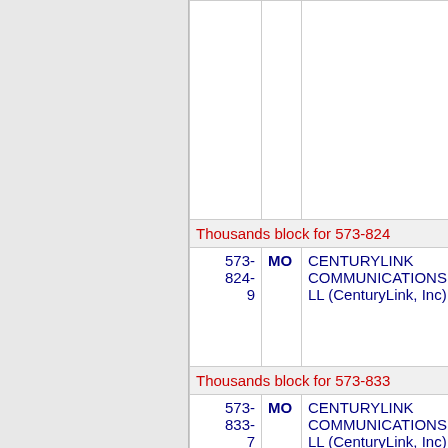| NPA-NXX-X | State | Company | OCN |  |
| --- | --- | --- | --- | --- |
| Thousands block for 573-824 |  |  |  |  |
| 573-824-9 | MO | CENTURYLINK COMMUNICATIONS, LL (CenturyLink, Inc) | 508J | A |
| Thousands block for 573-833 |  |  |  |  |
| 573-833-7 | MO | CENTURYLINK COMMUNICATIONS, LL (CenturyLink, Inc) | 508J | B |